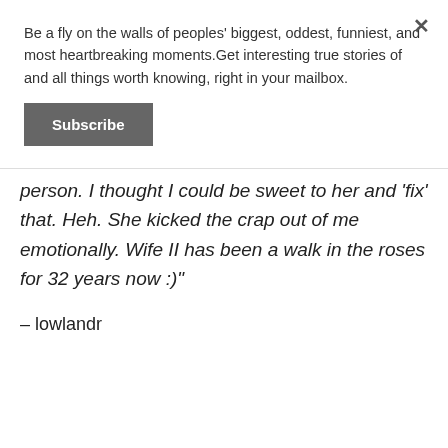Be a fly on the walls of peoples' biggest, oddest, funniest, and most heartbreaking moments.Get interesting true stories of and all things worth knowing, right in your mailbox.
Subscribe
person. I thought I could be sweet to her and 'fix' that. Heh. She kicked the crap out of me emotionally. Wife II has been a walk in the roses for 32 years now :)"
– lowlandr